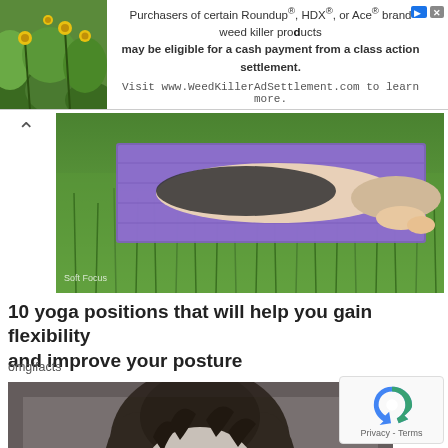[Figure (screenshot): Web page screenshot showing an advertisement banner, a yoga article preview with person on purple mat on grass, article title, and a black-and-white portrait of a woman (Marie Curie).]
Purchasers of certain Roundup®, HDX®, or Ace® brand weed killer products may be eligible for a cash payment from a class action settlement. Visit www.WeedKillerAdSettlement.com to learn more.
[Figure (photo): Person lying on a purple yoga mat on green grass, seen from above, with a 'Soft Focus' watermark.]
10 yoga positions that will help you gain flexibility and improve your posture
omgifacts
[Figure (photo): Black and white portrait photograph of a woman with dark curly hair pulled back, looking directly at camera with a serious expression (resembles Marie Curie).]